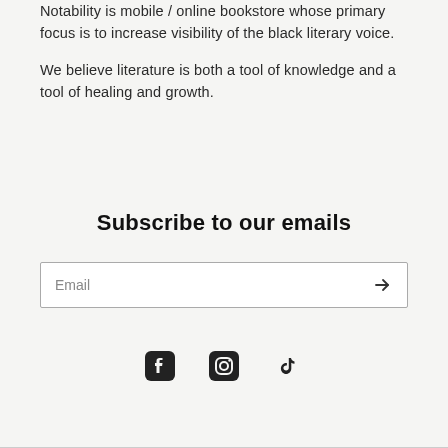Notability is mobile / online bookstore whose primary focus is to increase visibility of the black literary voice.
We believe literature is both a tool of knowledge and a tool of healing and growth.
Subscribe to our emails
Email
[Figure (infographic): Social media icons: Facebook, Instagram, TikTok]